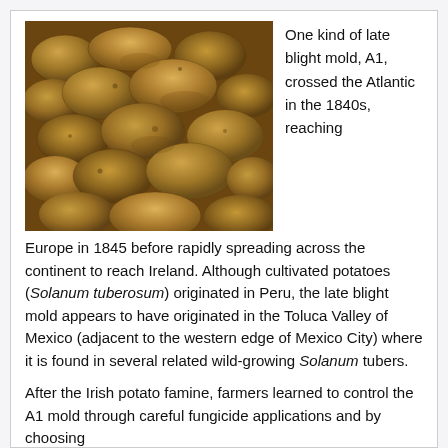[Figure (photo): Close-up photograph of many potatoes piled together, brown/tan in color]
One kind of late blight mold, A1, crossed the Atlantic in the 1840s, reaching Europe in 1845 before rapidly spreading across the continent to reach Ireland. Although cultivated potatoes (Solanum tuberosum) originated in Peru, the late blight mold appears to have originated in the Toluca Valley of Mexico (adjacent to the western edge of Mexico City) where it is found in several related wild-growing Solanum tubers.
After the Irish potato famine, farmers learned to control the A1 mold through careful fungicide applications and by choosing varieties that had some resistance to late blight, and by rotating